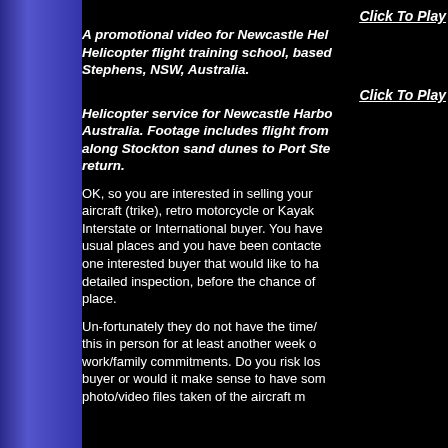[Figure (other): Blue decorative left panel/sidebar]
Click To Play
A promotional video for Newcastle Helicopter flight training school, based at Port Stephens, NSW, Australia.
Click To Play
Helicopter service for Newcastle Harbour, Australia. Footage includes flight from along Stockton sand dunes to Port Stephens return.
OK, so you are interested in selling your aircraft (trike), retro motorcycle or Kayak Interstate or International buyer. You have usual places and you have been contacted one interested buyer that would like to have detailed inspection, before the chance of place.
Un-fortunately they do not have the time/ this in person for at least another week or work/family commitments. Do you risk losing buyer or would it make sense to have some photo/video files taken of the aircraft m